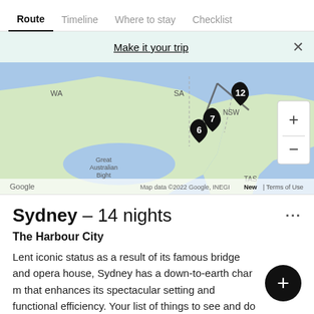Route | Timeline | Where to stay | Checklist
Make it your trip
[Figure (map): Map of Australia showing route with numbered stops: 6, 7, 12 near NSW/Sydney area, with lines connecting them. Google Maps interface with zoom controls. Labels: WA, SA, NSW, TAS, Great Australian Bight, Tasman Sea. Footer: Map data ©2022 Google, INEGI | Terms of Use]
Sydney – 14 nights
The Harbour City
Lent iconic status as a result of its famous bridge and opera house, Sydney has a down-to-earth charm that enhances its spectacular setting and functional efficiency. Your list of things to see and do now